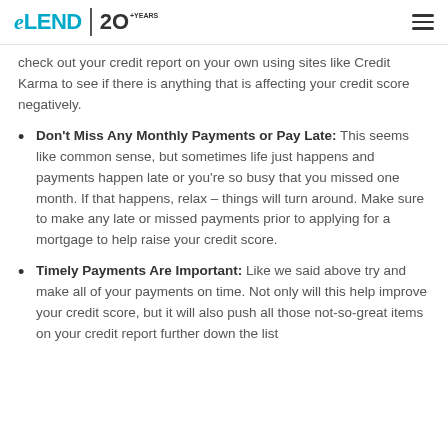eLEND 20+YEARS
check out your credit report on your own using sites like Credit Karma to see if there is anything that is affecting your credit score negatively.
Don't Miss Any Monthly Payments or Pay Late: This seems like common sense, but sometimes life just happens and payments happen late or you're so busy that you missed one month. If that happens, relax – things will turn around. Make sure to make any late or missed payments prior to applying for a mortgage to help raise your credit score.
Timely Payments Are Important: Like we said above try and make all of your payments on time. Not only will this help improve your credit score, but it will also push all those not-so-great items on your credit report further down the list